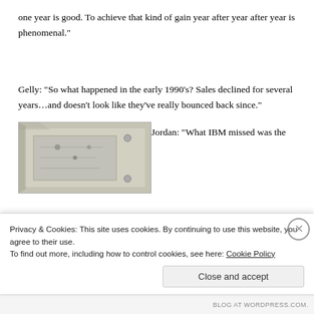one year is good. To achieve that kind of gain year after year after year is phenomenal."
Gelly: “So what happened in the early 1990’s? Sales declined for several years…and doesn’t look like they’ve really bounced back since.”
[Figure (photo): Photo of an IBM hardware device, appears to be a circuit board or computer component, beige/tan colored, viewed at an angle]
Jordan: “What IBM missed was the
Privacy & Cookies: This site uses cookies. By continuing to use this website, you agree to their use.
To find out more, including how to control cookies, see here: Cookie Policy
Close and accept